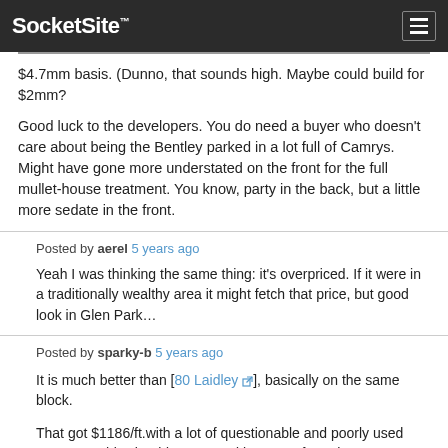SocketSite™
$4.7mm basis. (Dunno, that sounds high. Maybe could build for $2mm?
Good luck to the developers. You do need a buyer who doesn't care about being the Bentley parked in a lot full of Camrys. Might have gone more understated on the front for the full mullet-house treatment. You know, party in the back, but a little more sedate in the front.
Posted by aerel 5 years ago
Yeah I was thinking the same thing: it's overpriced. If it were in a traditionally wealthy area it might fetch that price, but good look in Glen Park…
Posted by sparky-b 5 years ago
It is much better than [80 Laidley], basically on the same block.
That got $1186/ft.with a lot of questionable and poorly used space. So this should get a good bump up from that one.